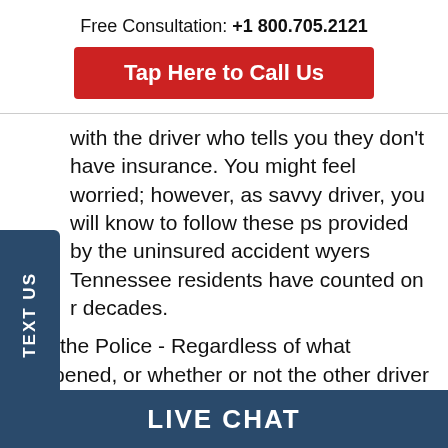Free Consultation: +1 800.705.2121
Tap Here to Call Us
with the driver who tells you they don't have insurance. You might feel worried; however, as savvy driver, you will know to follow these ps provided by the uninsured accident wyers Tennessee residents have counted on r decades.
Call the Police - Regardless of what happened, or whether or not the other driver has insurance, you should call the police. This is especially important when the driver is uninsured, or has left the scene. The police will
TEXT US
LIVE CHAT